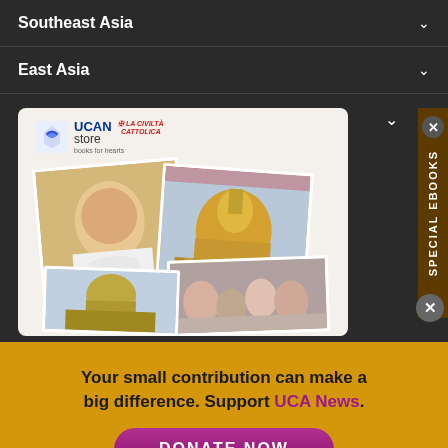Southeast Asia
East Asia
[Figure (screenshot): UCAN Store advertisement with collage of Catholic images including Pope Francis and St. Peter's Basilica, with a 'Special Ebooks' tab on the right side]
Your small contribution can make a big difference. Support UCA News.
DONATE NOW